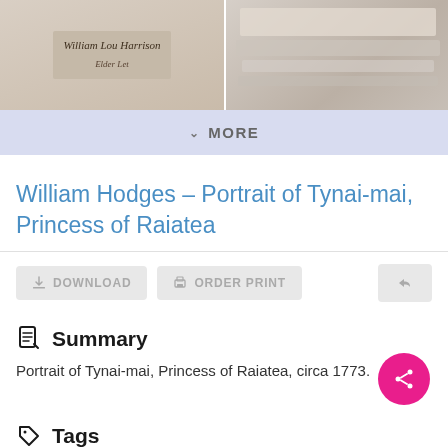[Figure (photo): Two cropped document/painting images side by side. Left shows handwritten script text 'William Lou Harrison' style cursive. Right shows a blurred/faded document.]
MORE
William Hodges – Portrait of Tynai-mai, Princess of Raiatea
DOWNLOAD   ORDER PRINT
Summary
Portrait of Tynai-mai, Princess of Raiatea, circa 1773.
Tags